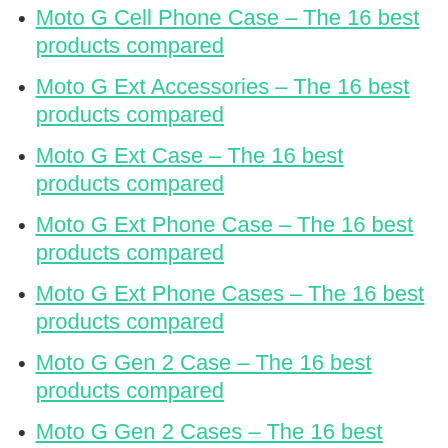Moto G Cell Phone Case – The 16 best products compared
Moto G Ext Accessories – The 16 best products compared
Moto G Ext Case – The 16 best products compared
Moto G Ext Phone Case – The 16 best products compared
Moto G Ext Phone Cases – The 16 best products compared
Moto G Gen 2 Case – The 16 best products compared
Moto G Gen 2 Cases – The 16 best